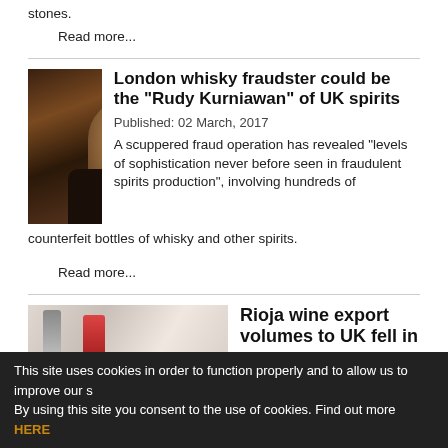stones.
Read more...
[Figure (photo): Woman with blonde hair seated in dark leather chair against wood-paneled background]
London whisky fraudster could be the "Rudy Kurniawan" of UK spirits
Published:  02 March, 2017
A scuppered fraud operation has revealed "levels of sophistication never before seen in fraudulent spirits production", involving hundreds of counterfeit bottles of whisky and other spirits.
Read more...
[Figure (photo): Bar scene with bottles and glassware]
Rioja wine export volumes to UK fell in
This site uses cookies in order to function properly and to allow us to improve our s By using this site you consent to the use of cookies. Find out more HERE